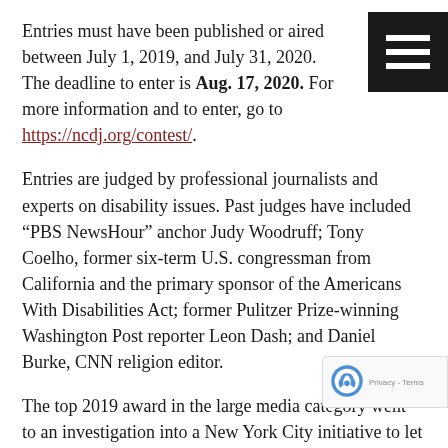Entries must have been published or aired between July 1, 2019, and July 31, 2020. The deadline to enter is Aug. 17, 2020. For more information and to enter, go to https://ncdj.org/contest/.
Entries are judged by professional journalists and experts on disability issues. Past judges have included “PBS NewsHour” anchor Judy Woodruff; Tony Coelho, former six-term U.S. congressman from California and the primary sponsor of the Americans With Disabilities Act; former Pulitzer Prize-winning Washington Post reporter Leon Dash; and Daniel Burke, CNN religion editor.
The top 2019 award in the large media category went to an investigation into a New York City initiative to let those with severe mental illnesses live on their own. The project was a collaboration by ProPublica, The New York Times and PBS...